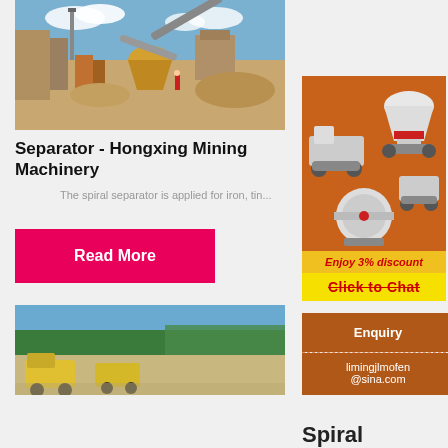[Figure (photo): Mining facility with crusher and conveyor belts, outdoor industrial site with sandy ground and blue sky]
Separator - Hongxing Mining Machinery
The spiral separator is applied for iron, tin...
Read More
[Figure (photo): Mining equipment and trucks at outdoor mining site with trees in background]
[Figure (illustration): Advertisement banner showing mining machinery on orange background with 'Enjoy 3% discount' and 'Click to Chat' buttons]
Enjoy 3% discount
Click to Chat
Enquiry
limingjlmofen@sina.com
Spiral